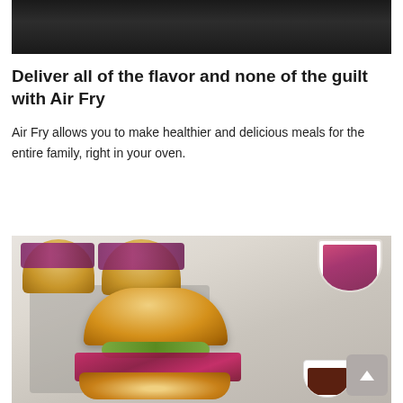[Figure (photo): Top portion of a dark kitchen appliance (oven/range) on a dark background, partially cropped]
Deliver all of the flavor and none of the guilt with Air Fry
Air Fry allows you to make healthier and delicious meals for the entire family, right in your oven.
[Figure (photo): Food photo showing sliders/mini sandwiches with purple cabbage slaw and pickles on a stone board, with a bowl of coleslaw and a dipping sauce on the side]